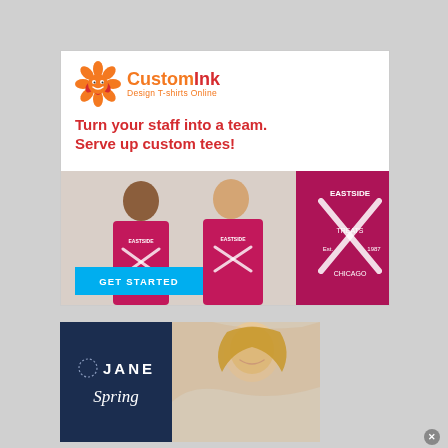[Figure (infographic): CustomInk advertisement: logo with orange flower icon, tagline 'Turn your staff into a team. Serve up custom tees!', photo of two women wearing magenta Eastside Treats Chicago t-shirts with a folded t-shirt on the right, and a blue GET STARTED button.]
[Figure (infographic): Jane.com advertisement: dark navy left panel with Jane logo (dot-ring icon) and 'Spring' text in serif italic, right panel showing a smiling young blonde girl.]